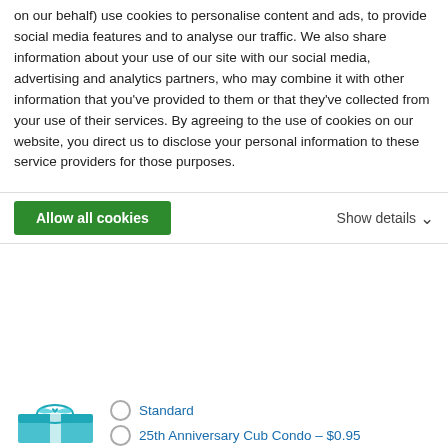on our behalf) use cookies to personalise content and ads, to provide social media features and to analyse our traffic. We also share information about your use of our site with our social media, advertising and analytics partners, who may combine it with other information that you've provided to them or that they've collected from your use of their services. By agreeing to the use of cookies on our website, you direct us to disclose your personal information to these service providers for those purposes.
Allow all cookies   Show details
| SKU | 029292 |
| --- | --- |
| Color | Multi Bright |
| Additional Information | Eye Color: BLUE
Friend Height: 15 in |
Standard
25th Anniversary Cub Condo – $0.95
Colorful Gift Box – $2.00